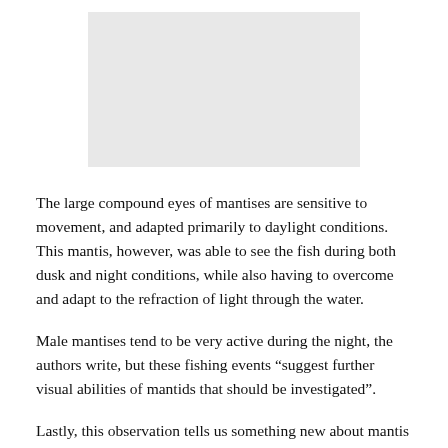[Figure (photo): Light gray rectangular image placeholder, likely a photo of a mantis near water]
The large compound eyes of mantises are sensitive to movement, and adapted primarily to daylight conditions. This mantis, however, was able to see the fish during both dusk and night conditions, while also having to overcome and adapt to the refraction of light through the water.
Male mantises tend to be very active during the night, the authors write, but these fishing events “suggest further visual abilities of mantids that should be investigated”.
Lastly, this observation tells us something new about mantis intelligence. After discovering the fish and developing a proficient hunting technique, the mantis came back repeatedly to the garden to feed. This strongly suggests that the mantis learned from the experience, figuring out where